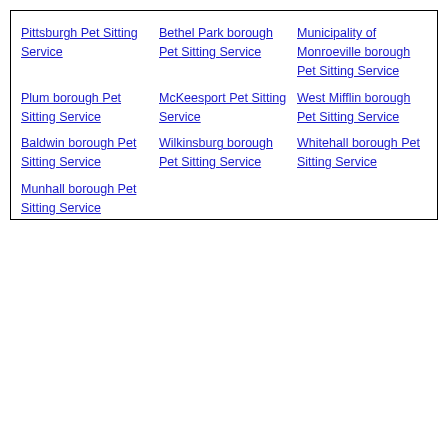Pittsburgh Pet Sitting Service
Bethel Park borough Pet Sitting Service
Municipality of Monroeville borough Pet Sitting Service
Plum borough Pet Sitting Service
McKeesport Pet Sitting Service
West Mifflin borough Pet Sitting Service
Baldwin borough Pet Sitting Service
Wilkinsburg borough Pet Sitting Service
Whitehall borough Pet Sitting Service
Munhall borough Pet Sitting Service